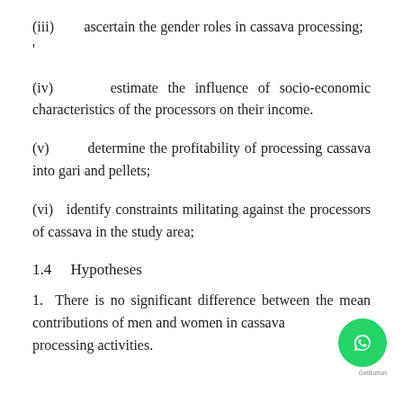(iii)      ascertain the gender roles in cassava processing;  '
(iv)      estimate the influence of socio-economic characteristics of the processors on their income.
(v)        determine the profitability of processing cassava into gari and pellets;
(vi)   identify constraints militating against the processors of cassava in the study area;
1.4    Hypotheses
1.  There is no significant difference between the mean contributions of men and women in cassava processing activities.